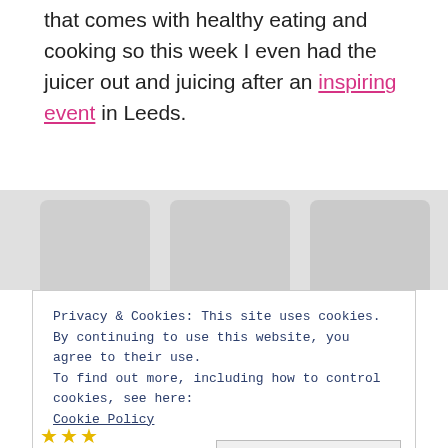that comes with healthy eating and cooking so this week I even had the juicer out and juicing after an inspiring event in Leeds.
[Figure (photo): A faded/blurred photo, mostly grey, appearing to show some outdoor or food-related scene. The image is heavily washed out and largely indistinct.]
Privacy & Cookies: This site uses cookies. By continuing to use this website, you agree to their use. To find out more, including how to control cookies, see here: Cookie Policy   Close and accept